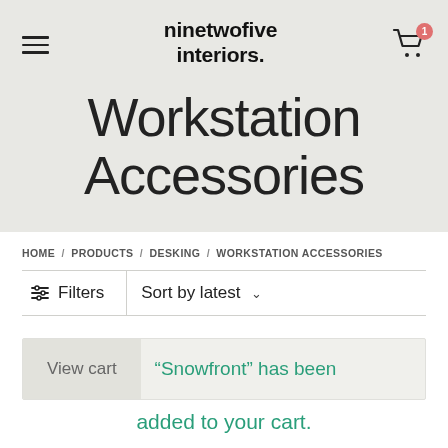ninetwofive interiors.
Workstation Accessories
HOME / PRODUCTS / DESKING / WORKSTATION ACCESSORIES
Filters   Sort by latest
View cart  “Snowfront” has been added to your cart.